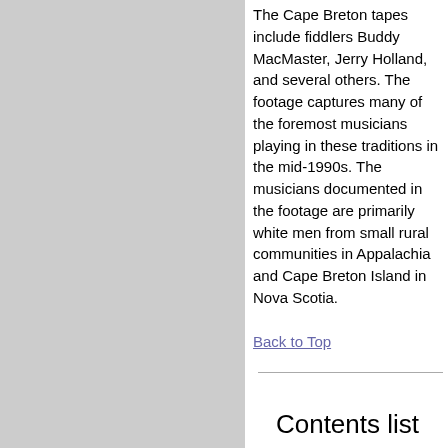The Cape Breton tapes include fiddlers Buddy MacMaster, Jerry Holland, and several others. The footage captures many of the foremost musicians playing in these traditions in the mid-1990s. The musicians documented in the footage are primarily white men from small rural communities in Appalachia and Cape Breton Island in Nova Scotia.
Back to Top
Contents list